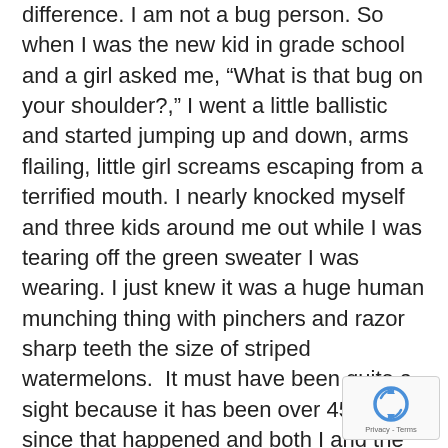difference. I am not a bug person. So when I was the new kid in grade school and a girl asked me, “What is that bug on your shoulder?,” I went a little ballistic and started jumping up and down, arms flailing, little girl screams escaping from a terrified mouth. I nearly knocked myself and three kids around me out while I was tearing off the green sweater I was wearing. I just knew it was a huge human munching thing with pinchers and razor sharp teeth the size of striped watermelons.  It must have been quite a sight because it has been over 45 years since that happened and both I and the girl that asked the question that day on the playground still remember her famous question and the result of it. She became a great friend but she never mentions bugs to me ever.
[Figure (other): reCAPTCHA badge with rotating arrows logo and Privacy - Terms links]